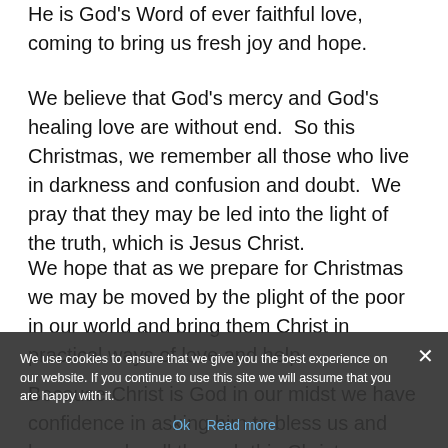He is God's Word of ever faithful love, coming to bring us fresh joy and hope.
We believe that God's mercy and God's healing love are without end.  So this Christmas, we remember all those who live in darkness and confusion and doubt.  We pray that they may be led into the light of the truth, which is Jesus Christ.
We hope that as we prepare for Christmas we may be moved by the plight of the poor in our world and bring them Christ in practical ways of love and help.
Because Christ is God in our midst we have confidence in asking him to bless us and keep us calm all through this Christmas.  When we are tempted to panic, may He reassure us with the consoling warmth of His presence.
I wish all of you and all those whom you love, a blessed
We use cookies to ensure that we give you the best experience on our website. If you continue to use this site we will assume that you are happy with it.
Ok  Read more